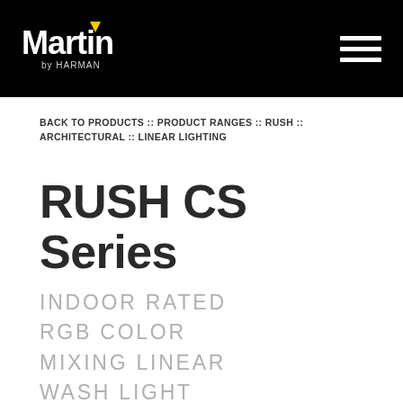[Figure (logo): Martin by Harman logo in white on black background, with yellow triangle accent over the letter 'i' in Martin]
BACK TO PRODUCTS :: PRODUCT RANGES :: RUSH :: ARCHITECTURAL :: LINEAR LIGHTING
RUSH CS Series
INDOOR RATED RGB COLOR MIXING LINEAR WASH LIGHT